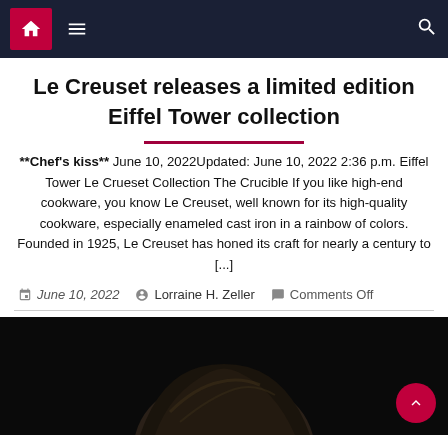Navigation bar with home icon, menu icon, and search icon
Le Creuset releases a limited edition Eiffel Tower collection
**Chef's kiss** June 10, 2022Updated: June 10, 2022 2:36 p.m. Eiffel Tower Le Crueset Collection The Crucible If you like high-end cookware, you know Le Creuset, well known for its high-quality cookware, especially enameled cast iron in a rainbow of colors. Founded in 1925, Le Creuset has honed its craft for nearly a century to [...]
June 10, 2022  Lorraine H. Zeller  Comments Off
[Figure (photo): Dark background photo showing the top of a person's head with blonde hair]